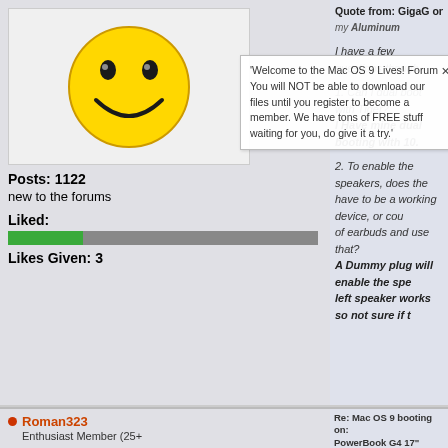[Figure (illustration): Yellow smiley face avatar icon]
Posts: 1122
new to the forums
Liked:
[Figure (other): Green and gray progress bar for Liked count]
Likes Given: 3
Quote from: GigaG on November 13, 2021, 11:
my Aluminum
I have a few questions though
1. Can I dual boot with Tiger?
I Have mine dual booting with 10.
2. To enable the speakers, does the have to be a working device, or cou of earbuds and use that?
A Dummy plug will enable the spe left speaker works so not sure if t
'Welcome to the Mac OS 9 Lives! Forum You will NOT be able to download our files until you register to become a member. We have tons of FREE stuff waiting for you, do give it a try.'
Roman323
Enthusiast Member (25+ Posts)
Re: Mac OS 9 booting on: PowerBook G4 17" Aluminum 5 (Detailed Posts)
« Reply #80 on: January 24, 2022